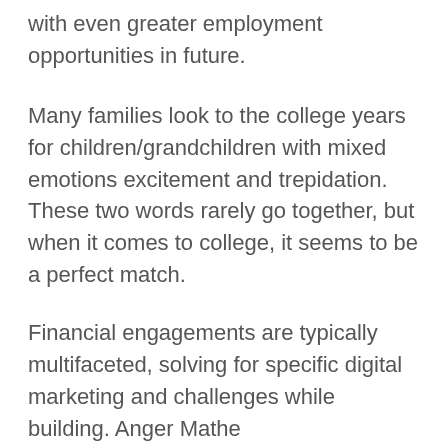with even greater employment opportunities in future.
Many families look to the college years for children/grandchildren with mixed emotions excitement and trepidation. These two words rarely go together, but when it comes to college, it seems to be a perfect match.
Financial engagements are typically multifaceted, solving for specific digital marketing and challenges while building. Anger Mathe
Check your car regularly and stay safe. Many families look to the college years for children/grandchildren with mixed emotions excitement and trepidation. These two words rarely go together, but when it comes to college,